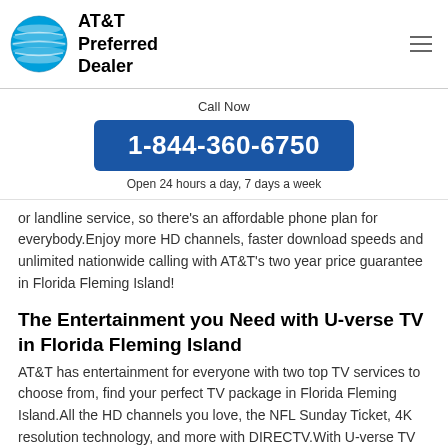[Figure (logo): AT&T globe logo with teal/blue stripes, circular shape]
AT&T Preferred Dealer
Call Now
1-844-360-6750
Open 24 hours a day, 7 days a week
or landline service, so there's an affordable phone plan for everybody.Enjoy more HD channels, faster download speeds and unlimited nationwide calling with AT&T's two year price guarantee in Florida Fleming Island!
The Entertainment you Need with U-verse TV in Florida Fleming Island
AT&T has entertainment for everyone with two top TV services to choose from, find your perfect TV package in Florida Fleming Island.All the HD channels you love, the NFL Sunday Ticket, 4K resolution technology, and more with DIRECTV.With U-verse TV